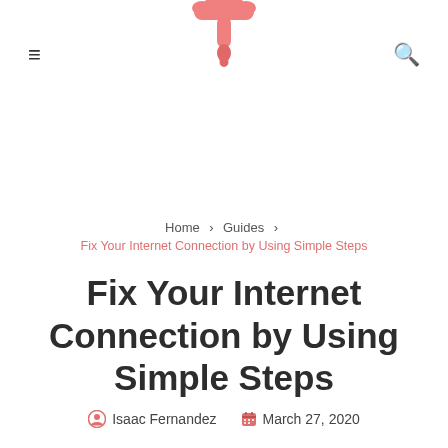[Figure (logo): Pink dripping/melting T-shaped logo at top center]
≡  [logo]  🔍
Home > Guides > Fix Your Internet Connection by Using Simple Steps
Fix Your Internet Connection by Using Simple Steps
Isaac Fernandez   March 27, 2020